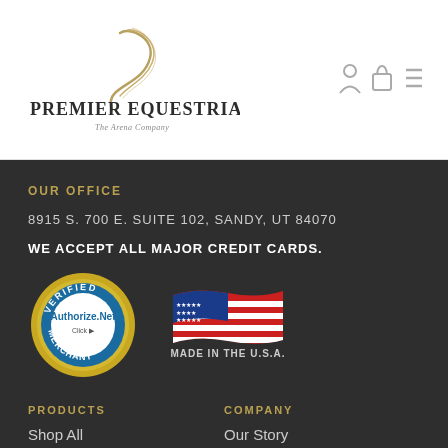[Figure (logo): Premier Equestrian logo with feather graphic, company name and tagline 'The Arena Company']
[Figure (other): User icon, shopping bag icon, and hamburger menu icon in header]
OUR OFFICE
8915 S. 700 E. SUITE 102, SANDY, UT 84070
WE ACCEPT ALL MAJOR CREDIT CARDS.
[Figure (logo): Authorize.Net Verified Merchant badge]
[Figure (logo): Made in the U.S.A. badge with American flag]
PRODUCTS
COMPANY
Shop All
Our Story